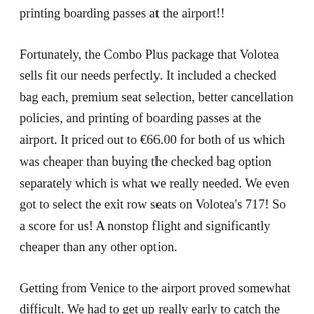printing boarding passes at the airport!!
Fortunately, the Combo Plus package that Volotea sells fit our needs perfectly. It included a checked bag each, premium seat selection, better cancellation policies, and printing of boarding passes at the airport. It priced out to €66.00 for both of us which was cheaper than buying the checked bag option separately which is what we really needed. We even got to select the exit row seats on Volotea's 717! So a score for us! A nonstop flight and significantly cheaper than any other option.
Getting from Venice to the airport proved somewhat difficult. We had to get up really early to catch the 5:00